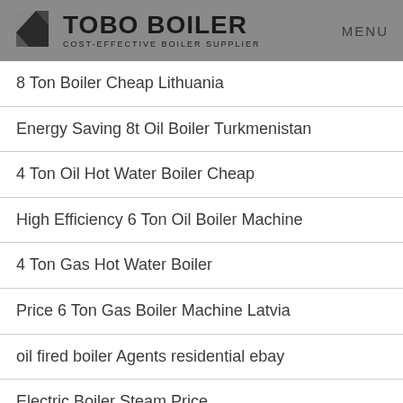TOBO BOILER — COST-EFFECTIVE BOILER SUPPLIER | MENU
8 Ton Boiler Cheap Lithuania
Energy Saving 8t Oil Boiler Turkmenistan
4 Ton Oil Hot Water Boiler Cheap
High Efficiency 6 Ton Oil Boiler Machine
4 Ton Gas Hot Water Boiler
Price 6 Ton Gas Boiler Machine Latvia
oil fired boiler Agents residential ebay
Electric Boiler Steam Price